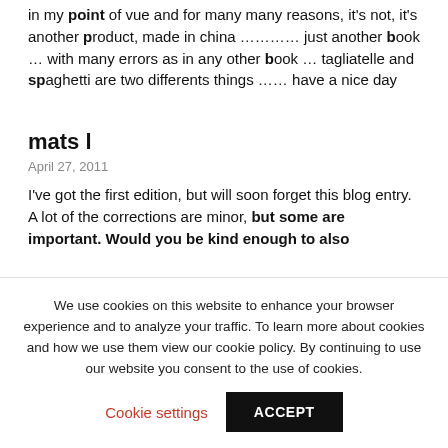in my point of vue and for many many reasons, it's not, it's another product, made in china ………… just another book … with many errors as in any other book … tagliatelle and spaghetti are two differents things …… have a nice day
mats l
April 27, 2011
I've got the first edition, but will soon forget this blog entry. A lot of the corrections are minor, but some are important. Would you be kind enough to also
We use cookies on this website to enhance your browser experience and to analyze your traffic. To learn more about cookies and how we use them view our cookie policy. By continuing to use our website you consent to the use of cookies.